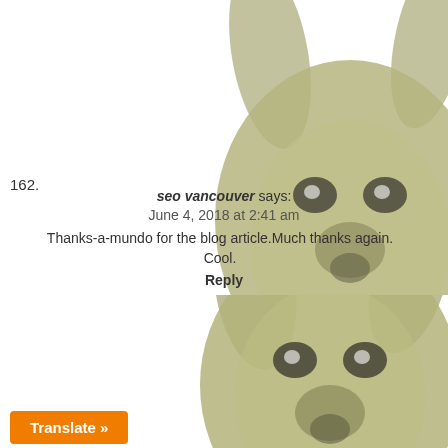[Figure (photo): A blurry olive-green colored stuffed animal or figurine resembling a kangaroo or rabbit with large ears, facing forward, photographed against a white background. Top portion of the page.]
162.
seo vancouver says:
June 4, 2018 at 2:41 am
Thanks-a-mundo for the blog article.Much thanks again. Cool.
Reply
[Figure (photo): A blurry olive-green colored stuffed animal or figurine resembling a kangaroo or rabbit with large ears, facing forward, photographed against a white background. Bottom portion of the page.]
Translate »